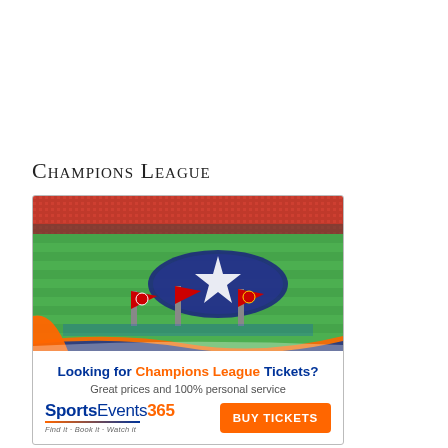Champions League
[Figure (photo): Champions League pre-match ceremony on a football pitch with the UEFA star logo displayed on the field, players lined up, red stands full of fans, and colorful team flag banners.]
Looking for Champions League Tickets?
Great prices and 100% personal service
[Figure (logo): SportsEvents365 logo with tagline 'Find it · Book it · Watch it' and orange BUY TICKETS button]